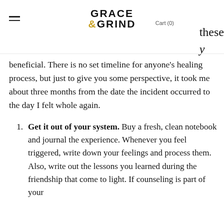Grace & Grind | Cart (0) | these y
beneficial. There is no set timeline for anyone's healing process, but just to give you some perspective, it took me about three months from the date the incident occurred to the day I felt whole again.
Get it out of your system. Buy a fresh, clean notebook and journal the experience. Whenever you feel triggered, write down your feelings and process them. Also, write out the lessons you learned during the friendship that come to light. If counseling is part of your